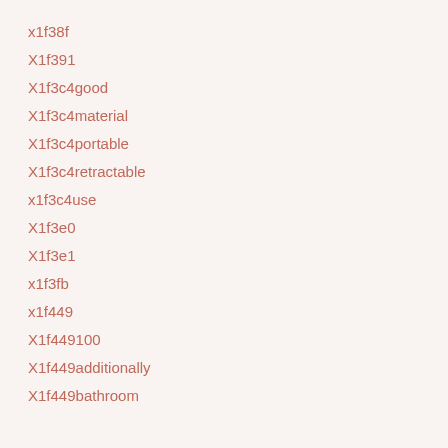x1f38f
X1f391
X1f3c4good
X1f3c4material
X1f3c4portable
X1f3c4retractable
x1f3c4use
X1f3e0
X1f3e1
x1f3fb
x1f449
X1f449100
X1f449additionally
X1f449bathroom